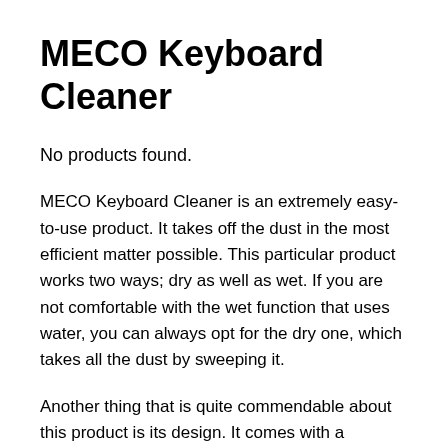MECO Keyboard Cleaner
No products found.
MECO Keyboard Cleaner is an extremely easy-to-use product. It takes off the dust in the most efficient matter possible. This particular product works two ways; dry as well as wet. If you are not comfortable with the wet function that uses water, you can always opt for the dry one, which takes all the dust by sweeping it.
Another thing that is quite commendable about this product is its design. It comes with a cordless model, which reduces all the chances of the user tangling in the wires and stripping. As it is wireless, the user can take it,